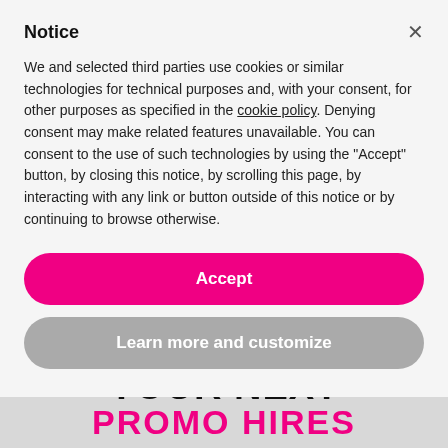Notice
We and selected third parties use cookies or similar technologies for technical purposes and, with your consent, for other purposes as specified in the cookie policy. Denying consent may make related features unavailable. You can consent to the use of such technologies by using the "Accept" button, by closing this notice, by scrolling this page, by interacting with any link or button outside of this notice or by continuing to browse otherwise.
Accept
Learn more and customize
YOUR NEXT
PROMO HIRES